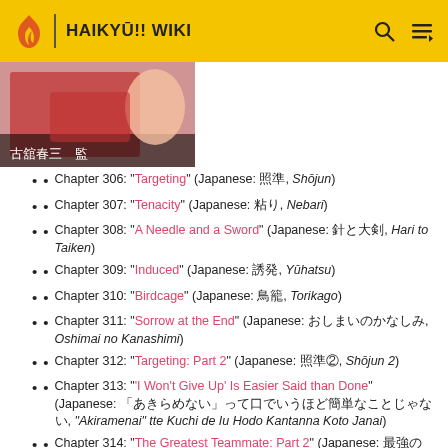HAIKYŪ!! WIKI
[Figure (illustration): Manga cover image showing a character in a red jersey with Japanese text]
Chapter 306: "Targeting" (Japanese: 照準, Shōjun)
Chapter 307: "Tenacity" (Japanese: 粘り, Nebari)
Chapter 308: "A Needle and a Sword" (Japanese: 針と大剣, Hari to Taiken)
Chapter 309: "Induced" (Japanese: 誘発, Yūhatsu)
Chapter 310: "Birdcage" (Japanese: 鳥籠, Torikago)
Chapter 311: "Sorrow at the End" (Japanese: おしまいのかなしみ, Oshimai no Kanashimi)
Chapter 312: "Targeting: Part 2" (Japanese: 照準②, Shōjun 2)
Chapter 313: "'I Won't Give Up' Is Easier Said than Done" (Japanese: 「あきらめない」って口でいうほど簡単なことじゃない, "Akiramenai" tte Kuchi de Iu Hodo Kantanna Koto Janai)
Chapter 314: "The Greatest Teammate: Part 2" (Japanese: 最強の味方②, Saikyō no Mikata 2)
Special: "Second Grade Elementary Students" (Japanese: 小学, Shōgaku Ninensei)